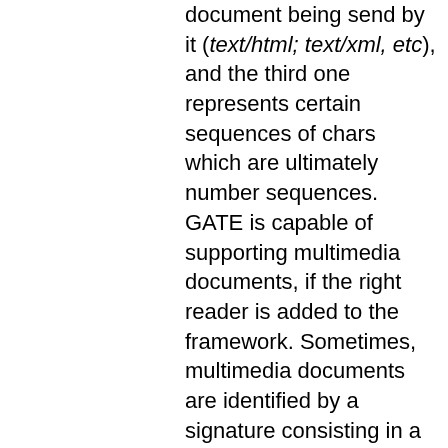document being send by it (text/html; text/xml, etc), and the third one represents certain sequences of chars which are ultimately number sequences. GATE is capable of supporting multimedia documents, if the right reader is added to the framework. Sometimes, multimedia documents are identified by a signature consisting in a sequence of numbers. Inside GATE they are called magic numbers. For textual documents, certain char sequences form such magic numbers. Examples of magic numbers sequences will be provided in the Input section of each format supported by GATE.
All those tests are applied to each document read, and after that, a voting mechanism decides what is the best reader to associate with the document. There is a degree of priority for all those tests. The